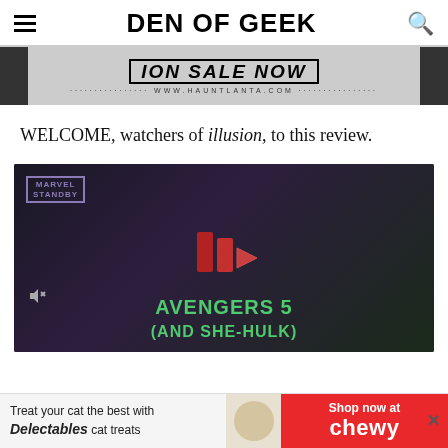DEN OF GEEK
[Figure (screenshot): Advertisement banner for hauntlanta.com showing 'ON SALE NOW' text and website URL www.hauntlanta.com on a dark background]
WELCOME, watchers of illusion, to this review.
[Figure (screenshot): Video thumbnail showing a Marvel Standby comic-style illustration of Kang/villain character in dark tones with green text reading 'AVENGERS 5 (AND SHE-HULK)' and a red play button overlay. Mute icon visible at bottom left.]
[Figure (screenshot): Bottom advertisement banner: 'Treat your cat the best with Delectables cat treats' on left with cat image, 'Shop now at Chewy' on red background on right. Close button at far right.]